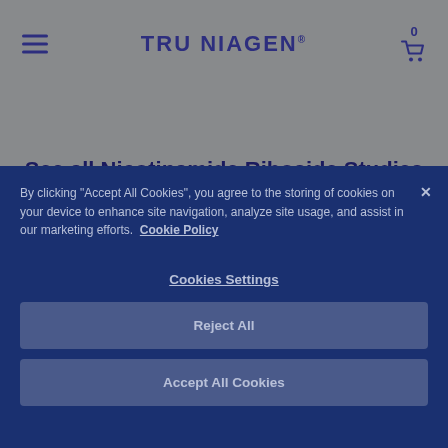TRU NIAGEN
See all Nicotinamide Riboside Studies on PubMed >
By clicking "Accept All Cookies", you agree to the storing of cookies on your device to enhance site navigation, analyze site usage, and assist in our marketing efforts. Cookie Policy
Cookies Settings
Reject All
Accept All Cookies